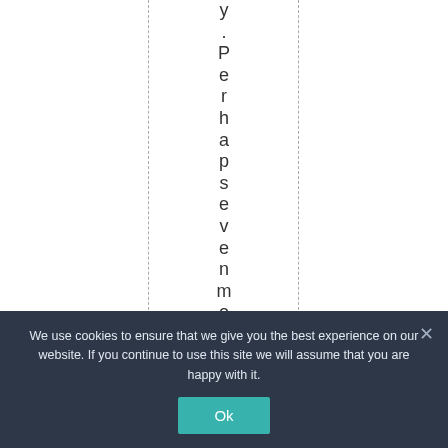y. Perhaps even more i
We use cookies to ensure that we give you the best experience on our website. If you continue to use this site we will assume that you are happy with it.